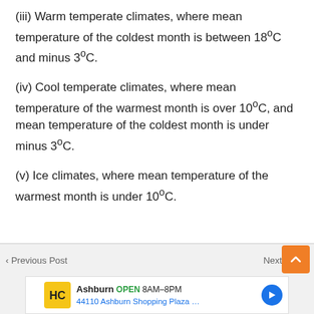(iii) Warm temperate climates, where mean temperature of the coldest month is between 18°C and minus 3°C.
(iv) Cool temperate climates, where mean temperature of the warmest month is over 10°C, and mean temperature of the coldest month is under minus 3°C.
(v) Ice climates, where mean temperature of the warmest month is under 10°C.
< Previous Post    Next Post >